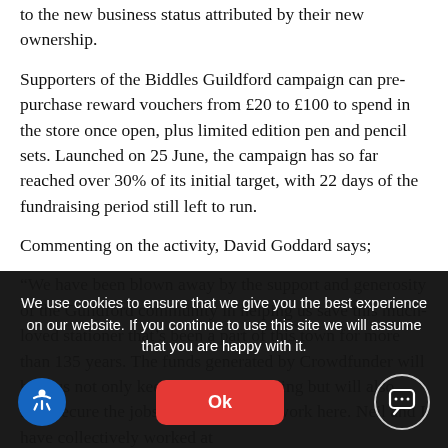to the new business status attributed by their new ownership.
Supporters of the Biddles Guildford campaign can pre-purchase reward vouchers from £20 to £100 to spend in the store once open, plus limited edition pen and pencil sets. Launched on 25 June, the campaign has so far reached over 30% of its initial target, with 22 days of the fundraising period still left to run.
Commenting on the activity, David Goddard says;
“We have been blown away by the support and generosity of the Guildford community in helping us save this much-loved stationer that’s been a part of this town for more than 135 years. The funds generated by Crowdfunder will help us not only keep the business going but will also help secure the jobs of the team that work here. Neil and I have collectively worked at
We use cookies to ensure that we give you the best experience on our website. If you continue to use this site we will assume that you are happy with it.